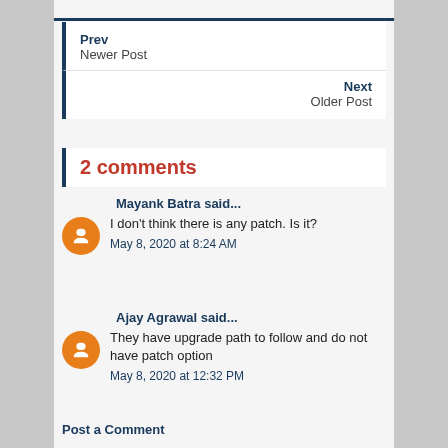Prev
Newer Post
Next
Older Post
2 comments
Mayank Batra said...
I don't think there is any patch. Is it?
May 8, 2020 at 8:24 AM
Ajay Agrawal said...
They have upgrade path to follow and do not have patch option
May 8, 2020 at 12:32 PM
Post a Comment